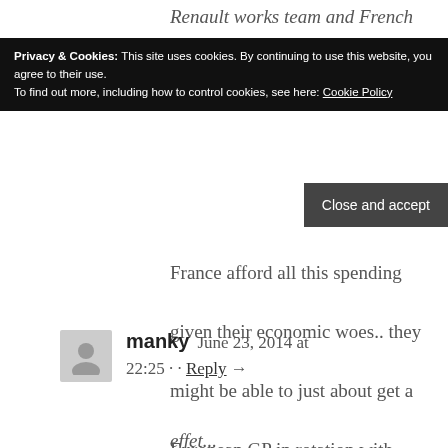Renault works team and French
Privacy & Cookies: This site uses cookies. By continuing to use this website, you agree to their use.
To find out more, including how to control cookies, see here: Cookie Policy
Close and accept
France afford all this spending given their economic woes.. they might be able to just about get a European GP in rotation with Hockenheim..
[Figure (illustration): Grey avatar/user placeholder icon]
manky  June 23, 2014 at 22:25 ·· Reply →
effet...